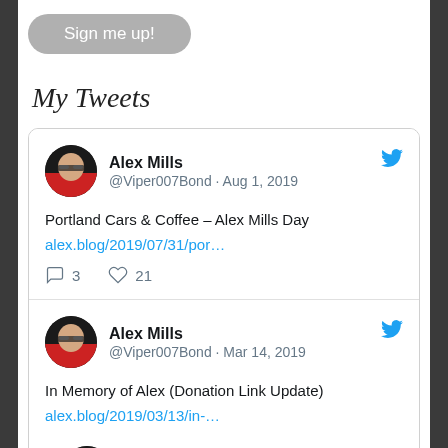[Figure (other): Sign me up button - rounded gray pill-shaped button with white text]
My Tweets
[Figure (screenshot): Tweet by Alex Mills (@Viper007Bond) on Aug 1, 2019: Portland Cars & Coffee – Alex Mills Day, alex.blog/2019/07/31/por..., 3 replies, 21 likes]
[Figure (screenshot): Tweet by Alex Mills (@Viper007Bond) on Mar 14, 2019: In Memory of Alex (Donation Link Update), alex.blog/2019/03/13/in-...]